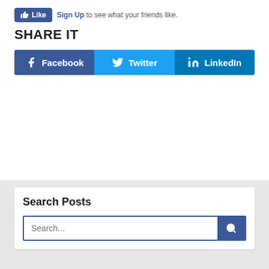[Figure (screenshot): Facebook Like button with thumbs up icon in blue, followed by 'Sign Up' link text and 'to see what your friends like.' text]
SHARE IT
[Figure (infographic): Three social media share buttons side by side: Facebook (dark blue), Twitter (light blue), LinkedIn (medium blue), each with icon and label]
Search Posts
[Figure (screenshot): Search input field with placeholder text 'Search...' and a dark blue search button with magnifying glass icon]